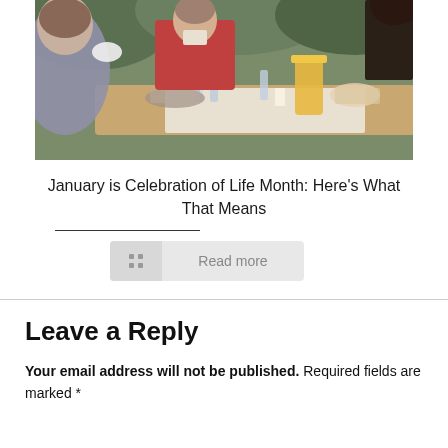[Figure (photo): Outdoor dining scene with people seated around a table with food, drinks, glasses, and a pitcher of juice in a garden setting]
January is Celebration of Life Month: Here’s What That Means
Read more
Leave a Reply
Your email address will not be published. Required fields are marked *